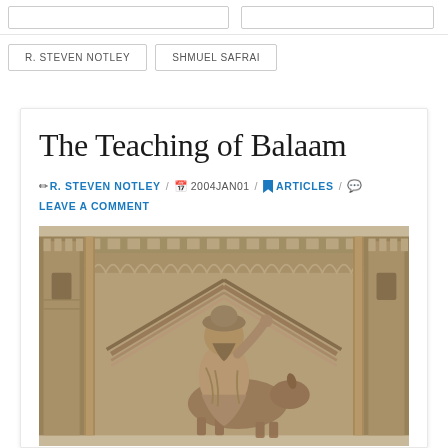R. STEVEN NOTLEY
SHMUEL SAFRAI
The Teaching of Balaam
R. STEVEN NOTLEY / 2004JAN01 / ARTICLES / LEAVE A COMMENT
[Figure (photo): Stone relief carving depicting a robed figure riding a donkey, set against an architectural backdrop with towers and arched decorative elements. The style appears to be ancient Roman or early Byzantine stone relief.]